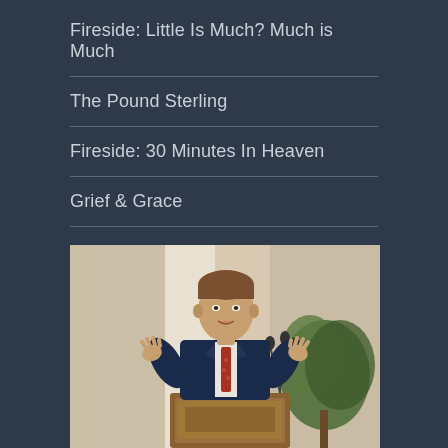Fireside: Little Is Much? Much is Much
The Pound Sterling
Fireside: 30 Minutes In Heaven
Grief & Grace
[Figure (photo): A man in a navy blue suit with a red patterned tie speaking at a wooden podium with a microphone, gesturing with both hands raised, in front of a white pillar and green plant background.]